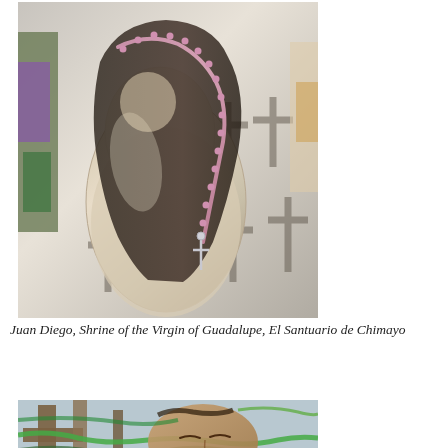[Figure (photo): Close-up photograph of Juan Diego statue adorned with rosary beads and chain with cross, shadows of crosses on the white background wall, colorful offerings visible. El Santuario de Chimayo.]
Juan Diego, Shrine of the Virgin of Guadalupe, El Santuario de Chimayo
[Figure (photo): Photograph of a religious figure or statue with ropes, green cord, and wooden cross elements visible, eyes closed expression.]